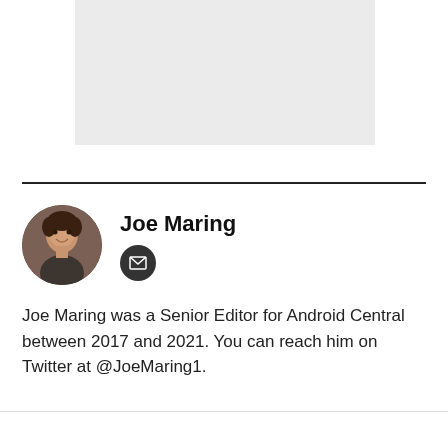[Figure (other): Gray placeholder box at top of page]
[Figure (photo): Circular profile photo of Joe Maring, a young man smiling, wearing a plaid shirt]
Joe Maring
[Figure (other): Dark circular email icon button]
Joe Maring was a Senior Editor for Android Central between 2017 and 2021. You can reach him on Twitter at @JoeMaring1.